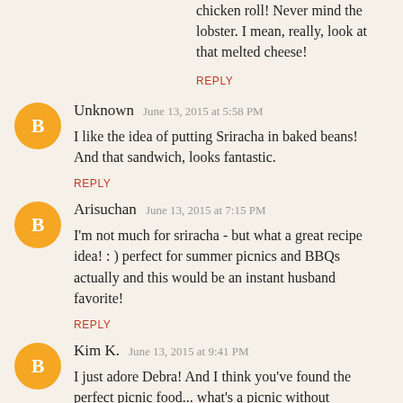chicken roll! Never mind the lobster. I mean, really, look at that melted cheese!
REPLY
Unknown  June 13, 2015 at 5:58 PM
I like the idea of putting Sriracha in baked beans!
And that sandwich, looks fantastic.
REPLY
Arisuchan  June 13, 2015 at 7:15 PM
I'm not much for sriracha - but what a great recipe idea! : ) perfect for summer picnics and BBQs actually and this would be an instant husband favorite!
REPLY
Kim K.  June 13, 2015 at 9:41 PM
I just adore Debra! And I think you've found the perfect picnic food... what's a picnic without